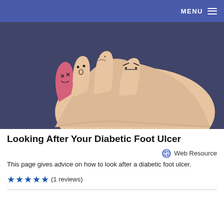MENU
[Figure (photo): Close-up photo of toes on a foot against a dark background. Several toes have cartoon faces drawn on them: one pink toe has X marks for eyes and appears injured, another has a surprised face, and others have sad or angry expressions drawn in marker.]
Looking After Your Diabetic Foot Ulcer
Web Resource
This page gives advice on how to look after a diabetic foot ulcer.
★★★★★ (1 reviews)